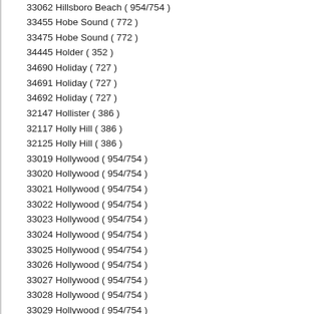33062 Hillsboro Beach ( 954/754 )
33455 Hobe Sound ( 772 )
33475 Hobe Sound ( 772 )
34445 Holder ( 352 )
34690 Holiday ( 727 )
34691 Holiday ( 727 )
34692 Holiday ( 727 )
32147 Hollister ( 386 )
32117 Holly Hill ( 386 )
32125 Holly Hill ( 386 )
33019 Hollywood ( 954/754 )
33020 Hollywood ( 954/754 )
33021 Hollywood ( 954/754 )
33022 Hollywood ( 954/754 )
33023 Hollywood ( 954/754 )
33024 Hollywood ( 954/754 )
33025 Hollywood ( 954/754 )
33026 Hollywood ( 954/754 )
33027 Hollywood ( 954/754 )
33028 Hollywood ( 954/754 )
33029 Hollywood ( 954/754 )
33081 Hollywood ( 954/754 )
33082 Hollywood ( 954/754 )
33083 Hollywood ( 954/754 )
33084 Hollywood ( 954/754 )
33312 Hollywood ( 954/754 )
33314 Hollywood ( 954/754 )